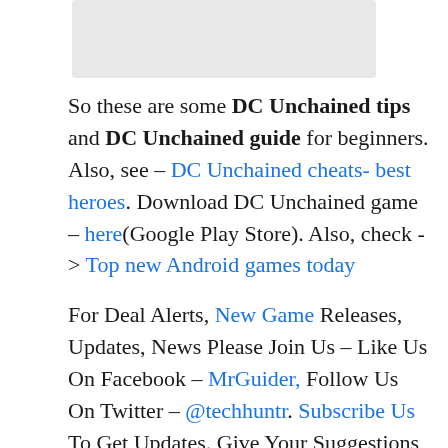[Figure (photo): Image placeholder at top of page]
So these are some DC Unchained tips and DC Unchained guide for beginners. Also, see – DC Unchained cheats- best heroes. Download DC Unchained game – here(Google Play Store). Also, check -> Top new Android games today
For Deal Alerts, New Game Releases, Updates, News Please Join Us – Like Us On Facebook – MrGuider, Follow Us On Twitter – @techhuntr. Subscribe Us To Get Updates. Give Your Suggestions – Here. [Must See – Top new Android Games Today!